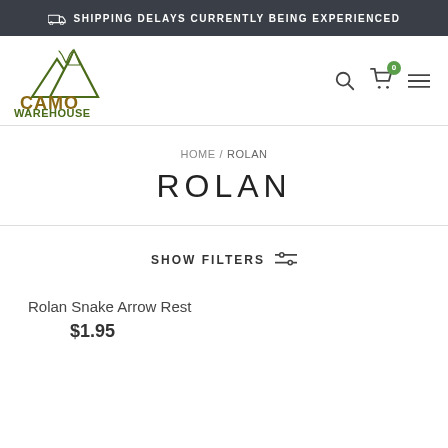SHIPPING DELAYS CURRENTLY BEING EXPERIENCED
[Figure (logo): Camo Warehouse logo with mountain and deer antlers graphic, text CAMO WAREHOUSE in green and olive/brown]
HOME / ROLAN
ROLAN
SHOW FILTERS
Rolan Snake Arrow Rest
$1.95